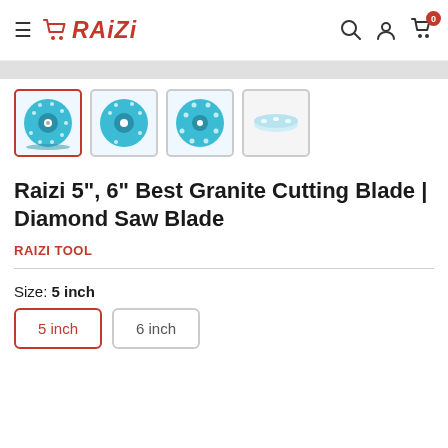Raizi — navigation header with hamburger menu, logo, search, account, and cart icons
[Figure (screenshot): Four product thumbnail images of a turquoise/blue diamond saw blade, showing front face, top view, angled view, and side profile. First thumbnail is selected with red border.]
Raizi 5", 6" Best Granite Cutting Blade | Diamond Saw Blade
RAIZI TOOL
Size: 5 inch
5 inch
6 inch